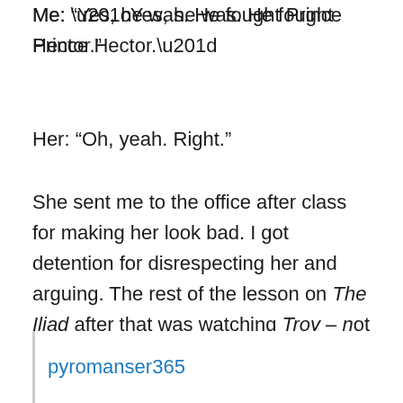Me: “Yes, he was. He fought Prince Hector.”
Her: “Oh, yeah. Right.”
She sent me to the office after class for making her look bad. I got detention for disrespecting her and arguing. The rest of the lesson on The Iliad after that was watching Troy – not even reading the story.
pyromanser365